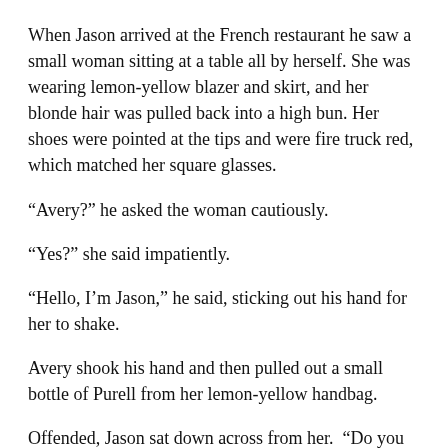When Jason arrived at the French restaurant he saw a small woman sitting at a table all by herself. She was wearing lemon-yellow blazer and skirt, and her blonde hair was pulled back into a high bun. Her shoes were pointed at the tips and were fire truck red, which matched her square glasses.
“Avery?” he asked the woman cautiously.
“Yes?” she said impatiently.
“Hello, I’m Jason,” he said, sticking out his hand for her to shake.
Avery shook his hand and then pulled out a small bottle of Purell from her lemon-yellow handbag.
Offended, Jason sat down across from her.  “Do you think I’m that dirty?” he asked accusingly.
She ignored him. “You’re late.”